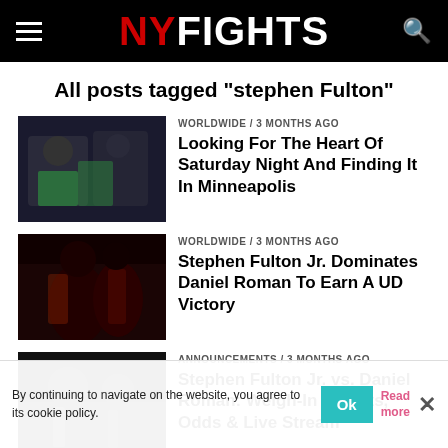NY FIGHTS
All posts tagged "stephen Fulton"
WORLDWIDE / 3 months ago
Looking For The Heart Of Saturday Night And Finding It In Minneapolis
WORLDWIDE / 3 months ago
Stephen Fulton Jr. Dominates Daniel Roman To Earn A UD Victory
ANNOUNCEMENTS / 3 months ago
Stephen Fulton Jr. vs. Daniel Roman: Weigh-In Results, Odds & Live Stream
NEWS / 3 months ago
Stephen Fulton On Foe Danny Roman: There's Four Ways To Get Him
By continuing to navigate on the website, you agree to its cookie policy.